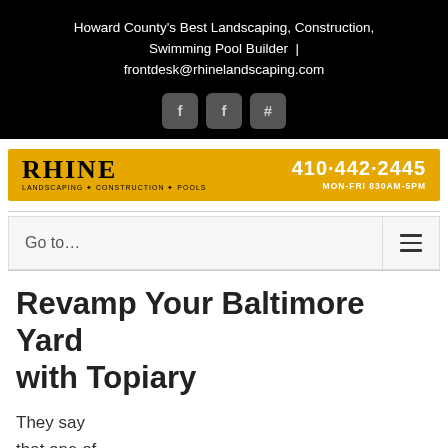Howard County's Best Landscaping, Construction, Swimming Pool Builder | frontdesk@rhinelandscaping.com
[Figure (logo): Rhine Landscaping + Construction + Pools logo with phone 410-442-2445 and hours MON-FRI 830AM-5PM on gold background]
Go to...
Revamp Your Baltimore Yard with Topiary
They say that one of the best